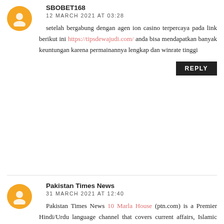SBOBET168
12 MARCH 2021 AT 03:28
setelah bergabung dengan agen ion casino terpercaya pada link berikut ini https://tipsdewajudi.com/ anda bisa mendapatkan banyak keuntungan karena permainannya lengkap dan winrate tinggi
REPLY
Pakistan Times News
31 MARCH 2021 AT 12:40
Pakistan Times News 10 Marla House (ptn.com) is a Premier Hindi/Urdu language channel that covers current affairs, Islamic history, cricket academy, top 10 trends, top viral videos, top 5 viral trend, social news, sports news, showbiz news, top viral trends, trending news, real facts of life, top 5, top 10, Islamic Wazaif in Hindi/Urdu along with different stories and health tips on this ptn.com youtube channel. The variety of topics on (Pakistan Times News) this channel makes us different from many other channels on YouTube. Pakistan Times News “ptn.com” provide solutions to day-to-day problems.